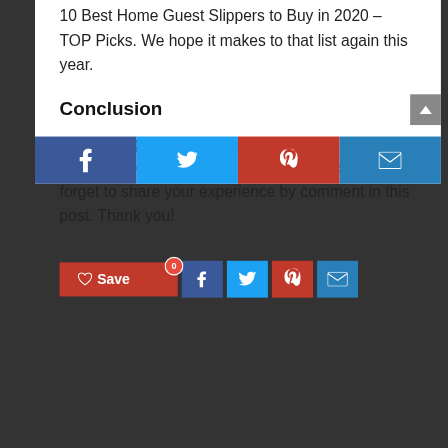10 Best Home Guest Slippers to Buy in 2020 – TOP Picks. We hope it makes to that list again this year.
Conclusion
By our suggestions above, we hope that you can found Home Guest Slippers for you.Please don't forget to share your experience by comment in this post. Thank you!